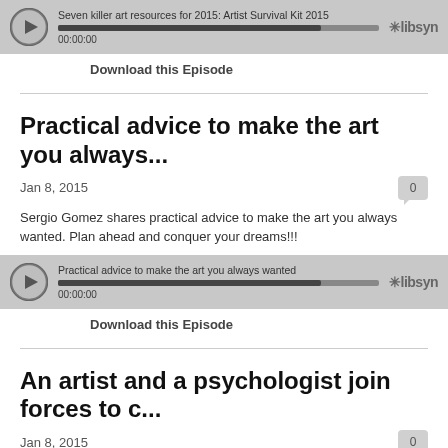[Figure (screenshot): Libsyn audio player for 'Seven killer art resources for 2015: Artist Survival Kit 2015', showing play button, progress bar, timestamp 00:00:00, and Libsyn logo]
Download this Episode
Practical advice to make the art you always...
Jan 8, 2015
Sergio Gomez shares practical advice to make the art you always wanted. Plan ahead and conquer your dreams!!!
[Figure (screenshot): Libsyn audio player for 'Practical advice to make the art you always wanted', showing play button, progress bar, timestamp 00:00:00, and Libsyn logo]
Download this Episode
An artist and a psychologist join forces to c...
Jan 8, 2015
In this first episode, Sergio Gomez introduces the Artist Next Level Podcast and talks about the idea behind it. Inspiring and Equipping Artists to